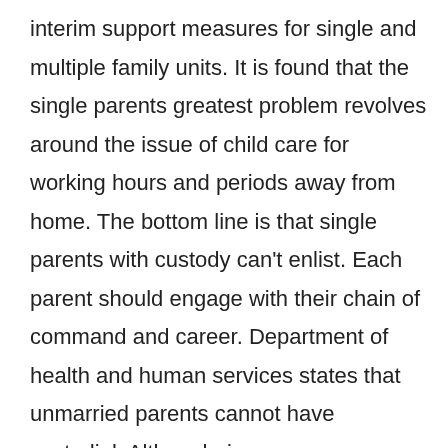interim support measures for single and multiple family units. It is found that the single parents greatest problem revolves around the issue of child care for working hours and periods away from home. The bottom line is that single parents with custody can't enlist. Each parent should engage with their chain of command and career. Department of health and human services states that unmarried parents cannot have custodial. Although, in some cases, a new recruit could have someone else take over custody of their children. This support is payable on the 1st of every month for the previous month. While there are a number of programs that give support for single military parents in the armed forces, there are also rules that apply for servicemember